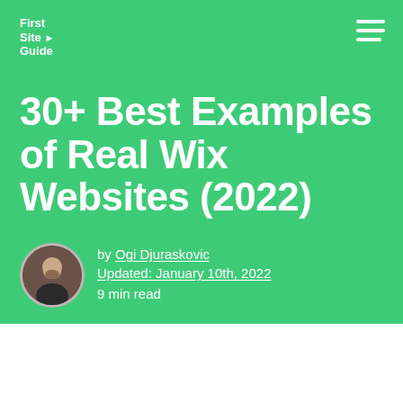First Site Guide
30+ Best Examples of Real Wix Websites (2022)
by Ogi Djuraskovic
Updated: January 10th, 2022
9 min read
Home → Blog → 30+ Best Examples of Real Wix Websites (2022)
Be the first to comment